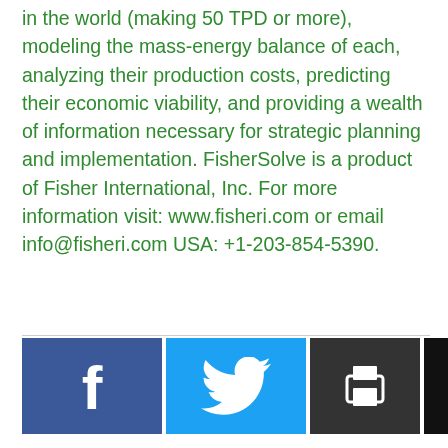in the world (making 50 TPD or more), modeling the mass-energy balance of each, analyzing their production costs, predicting their economic viability, and providing a wealth of information necessary for strategic planning and implementation. FisherSolve is a product of Fisher International, Inc. For more information visit: www.fisheri.com or email info@fisheri.com USA: +1-203-854-5390.
[Figure (other): Social sharing buttons: Facebook, Twitter, Print, Email, and a More/Add button]